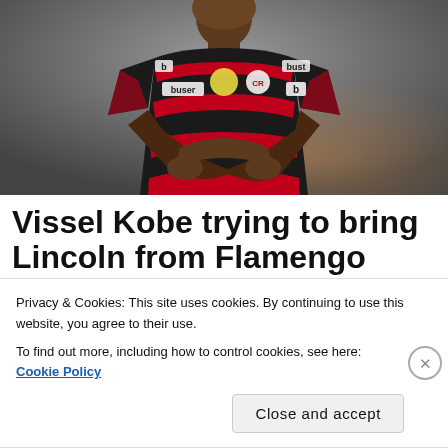[Figure (photo): A soccer player wearing a red and black striped Flamengo jersey with 'buser' and 'b' (Beats) logos, arms crossed over chest, photographed from chest up against a blurred stadium background.]
Vissel Kobe trying to bring Lincoln from Flamengo
Privacy & Cookies: This site uses cookies. By continuing to use this website, you agree to their use.
To find out more, including how to control cookies, see here: Cookie Policy
Close and accept